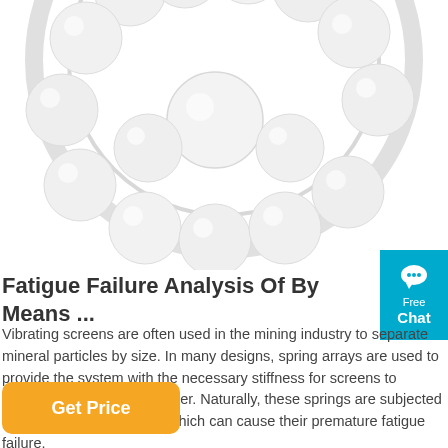[Figure (photo): Photograph of a ball bearing ring with white ceramic or plastic balls arranged in a circular race, viewed from above/front angle, white background.]
[Figure (screenshot): Blue chat button widget in the top-right corner with a speech bubble icon, 'Free' text and 'Chat' text in white on cyan/teal blue background.]
Fatigue Failure Analysis Of By Means ...
Vibrating screens are often used in the mining industry to separate mineral particles by size. In many designs, spring arrays are used to provide the system with the necessary stiffness for screens to vibrate in a controlled manner. Naturally, these springs are subjected to varying loading cycles, which can cause their premature fatigue failure.
Get Price